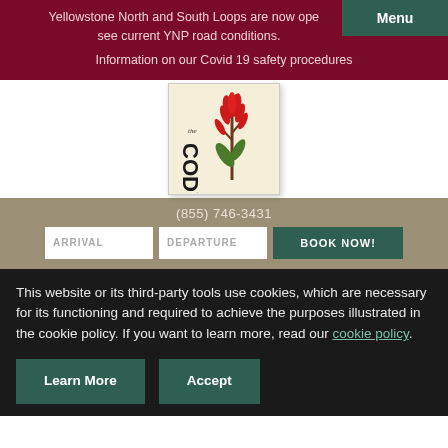Yellowstone North and South Loops are now open — see current YNP road conditions. Information on our Covid 19 safety procedures
[Figure (logo): The Cody hotel logo: text 'the CODY' in black lettering with a red wildflower / Indian paintbrush illustration on beige background]
(855) 746-3431
ARRIVAL | DEPARTURE | BOOK NOW!
This website or its third-party tools use cookies, which are necessary for its functioning and required to achieve the purposes illustrated in the cookie policy. If you want to learn more, read our cookie policy.
Learn More | Accept